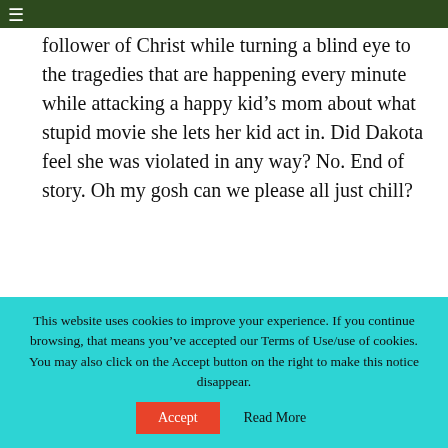righteous do-gooder can call themselves a follower of Christ while turning a blind eye to the tragedies that are happening every minute while attacking a happy kid's mom about what stupid movie she lets her kid act in. Did Dakota feel she was violated in any way? No. End of story. Oh my gosh can we please all just chill?
MARCUS TUCKER
REPLY
This website uses cookies to improve your experience. If you continue browsing, that means you've accepted our Terms of Use/use of cookies. You may also click on the Accept button on the right to make this notice disappear.